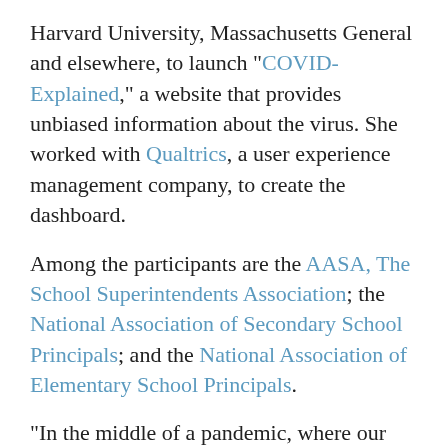Harvard University, Massachusetts General and elsewhere, to launch "COVID-Explained," a website that provides unbiased information about the virus. She worked with Qualtrics, a user experience management company, to create the dashboard.
Among the participants are the AASA, The School Superintendents Association; the National Association of Secondary School Principals; and the National Association of Elementary School Principals.
"In the middle of a pandemic, where our nation is left unable to answer the most basic of questions, the idea of leaving our schools in a position of starting a school year unable to reasonably anticipate what COVID looks like in buildings and